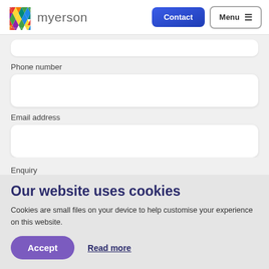[Figure (logo): Myerson law firm logo with colorful mosaic 'm' icon and 'myerson' wordmark, Contact and Menu buttons in header]
Phone number
Email address
Enquiry
Our website uses cookies
Cookies are small files on your device to help customise your experience on this website.
Accept
Read more